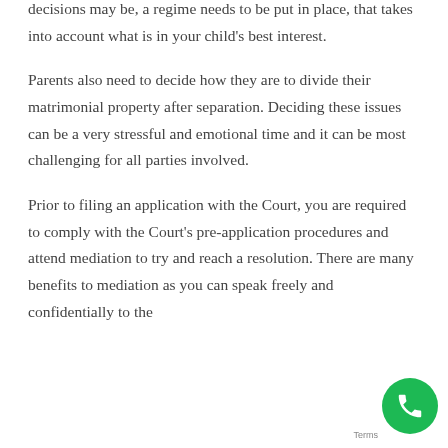decisions may be, a regime needs to be put in place, that takes into account what is in your child's best interest.
Parents also need to decide how they are to divide their matrimonial property after separation. Deciding these issues can be a very stressful and emotional time and it can be most challenging for all parties involved.
Prior to filing an application with the Court, you are required to comply with the Court's pre-application procedures and attend mediation to try and reach a resolution. There are many benefits to mediation as you can speak freely and confidentially to the